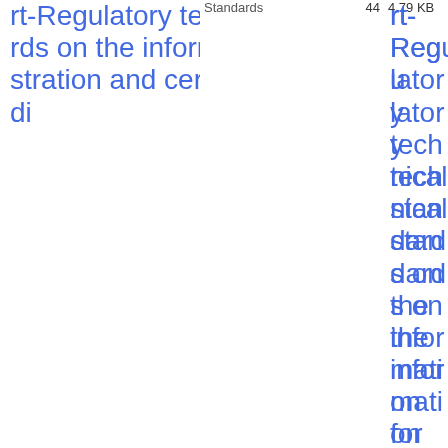| Link | Standards | Number | Size |
| --- | --- | --- | --- |
| rt-Regulatory technical standards on the information for registration and certification of credi | Standards | 44 | 4.79 KB |